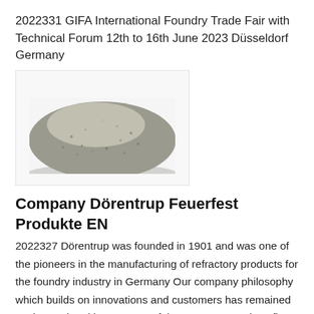2022331 GIFA International Foundry Trade Fair with Technical Forum 12th to 16th June 2023 Düsseldorf Germany
[Figure (photo): A pile of grey metallic powder or granules photographed against a white background, showing a mound/heap shape.]
Company Dörentrup Feuerfest Produkte EN
2022327 Dörentrup was founded in 1901 and was one of the pioneers in the manufacturing of refractory products for the foundry industry in Germany Our company philosophy which builds on innovations and customers has remained unchanged and is as successful as ever We produce fire resistant lining for melting holding pouring